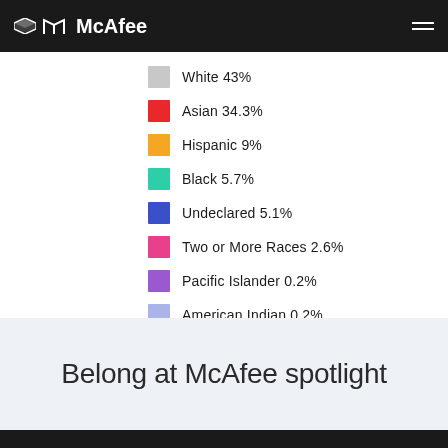McAfee
White 43%
Asian 34.3%
Hispanic 9%
Black 5.7%
Undeclared 5.1%
Two or More Races 2.6%
Pacific Islander 0.2%
American Indian 0.2%
Belong at McAfee spotlight